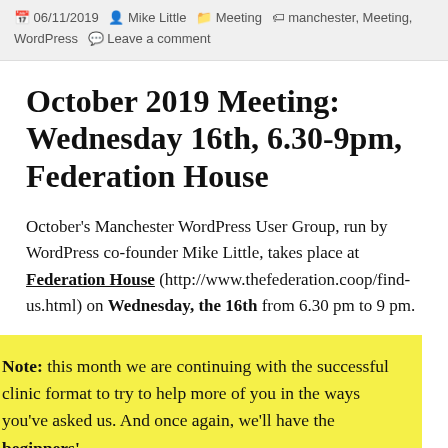06/11/2019  Mike Little  Meeting  manchester, Meeting, WordPress  Leave a comment
October 2019 Meeting: Wednesday 16th, 6.30-9pm, Federation House
October's Manchester WordPress User Group, run by WordPress co-founder Mike Little, takes place at Federation House (http://www.thefederation.coop/find-us.html) on Wednesday, the 16th from 6.30 pm to 9 pm.
Note: this month we are continuing with the successful clinic format to try to help more of you in the ways you've asked us. And once again, we'll have the beginners'